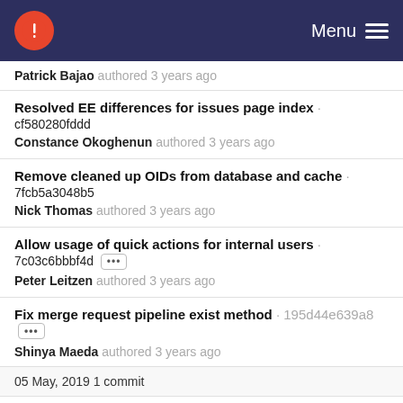Menu
Patrick Bajao authored 3 years ago
Resolved EE differences for issues page index · cf580280fddd
Constance Okoghenun authored 3 years ago
Remove cleaned up OIDs from database and cache · 7fcb5a3048b5
Nick Thomas authored 3 years ago
Allow usage of quick actions for internal users · 7c03c6bbbf4d
Peter Leitzen authored 3 years ago
Fix merge request pipeline exist method · 195d44e639a8
Shinya Maeda authored 3 years ago
05 May, 2019 1 commit
Run rubocop -a on CE files · 1df4f66d7441